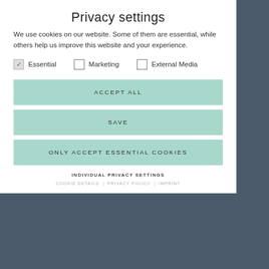Privacy settings
We use cookies on our website. Some of them are essential, while others help us improve this website and your experience.
✓ Essential   ☐ Marketing   ☐ External Media
ACCEPT ALL
SAVE
ONLY ACCEPT ESSENTIAL COOKIES
INDIVIDUAL PRIVACY SETTINGS
COOKIE DETAILS  |  PRIVACY POLICY  |  IMPRINT